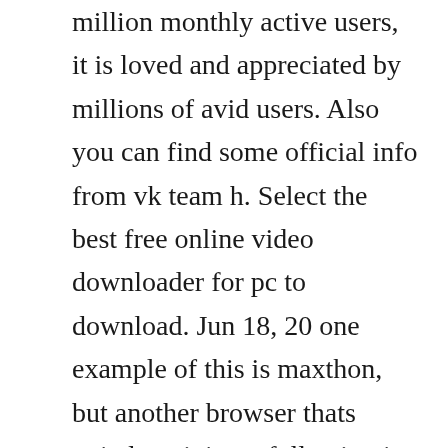million monthly active users, it is loved and appreciated by millions of avid users. Also you can find some official info from vk team h. Select the best free online video downloader for pc to download. Jun 18, 20 one example of this is maxthon, but another browser thats quietly gaining a following is torch, which the company tells us just passed 10 million monthly active users on mac and windows after. February 20, more than 100 million monthly active users. Broadcast yourself to a larger social media audience with the youtube tab for facebook.